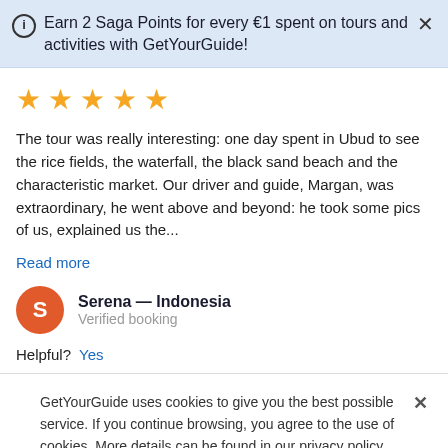Earn 2 Saga Points for every €1 spent on tours and activities with GetYourGuide!
[Figure (infographic): 5 gold star rating icons]
The tour was really interesting: one day spent in Ubud to see the rice fields, the waterfall, the black sand beach and the characteristic market. Our driver and guide, Margan, was extraordinary, he went above and beyond: he took some pics of us, explained us the...
Read more
Serena — Indonesia
Verified booking
Helpful?  Yes
GetYourGuide uses cookies to give you the best possible service. If you continue browsing, you agree to the use of cookies. More details can be found in our privacy policy.